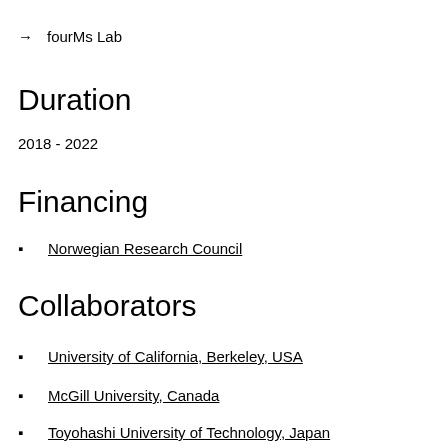→  fourMs Lab
Duration
2018 - 2022
Financing
Norwegian Research Council
Collaborators
University of California, Berkeley, USA
McGill University, Canada
Toyohashi University of Technology, Japan